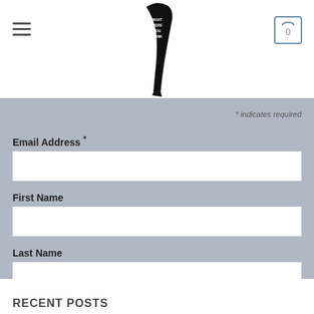Navigation header with hamburger menu, logo (shoe illustration with text), and cart icon showing 0
* indicates required
Email Address *
First Name
Last Name
SUBSCRIBE
RECENT POSTS